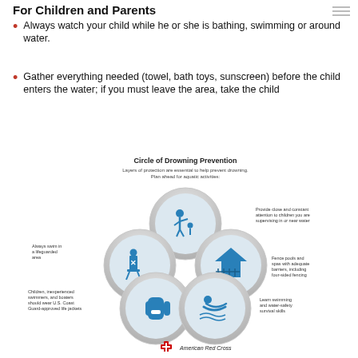For Children and Parents
Always watch your child while he or she is bathing, swimming or around water.
Gather everything needed (towel, bath toys, sunscreen) before the child enters the water; if you must leave the area, take the child
[Figure (infographic): Circle of Drowning Prevention infographic showing 5 overlapping circles with icons: supervision near water, fenced pools/spas, swimming/water-safety skills, life jackets for children/inexperienced swimmers/boaters, and always swim in a lifeguarded area. Subtitled: Layers of protection are essential to help prevent drowning. Plan ahead for aquatic activities. American Red Cross logo at bottom.]